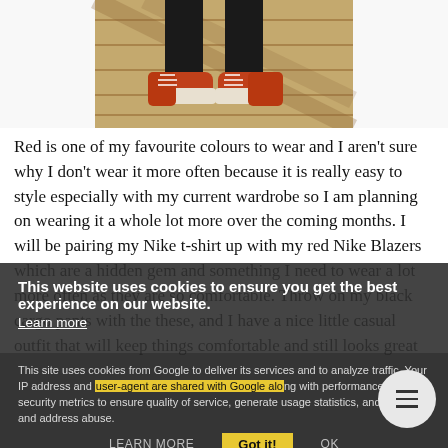[Figure (photo): Close-up photo of a person's lower legs wearing black pants and red/rust colored Nike Blazer sneakers, standing on a patterned wooden floor]
Red is one of my favourite colours to wear and I aren't sure why I don't wear it more often because it is really easy to style especially with my current wardrobe so I am planning on wearing it a whole lot more over the coming months. I will be pairing my Nike t-shirt up with my red Nike Blazers which are a hidden gem and something I need to wear a lot more often as they are so comfortable. Throw on my black cargo pants with the these, and I have a nice little casual outfit that will keep things comfortable and still looks great
This website uses cookies to ensure you get the best experience on our website. Learn more
This site uses cookies from Google to deliver its services and to analyze traffic. Your IP address and user-agent are shared with Google along with performance and security metrics to ensure quality of service, generate usage statistics, and to detect and address abuse.
Got it!
LEARN MORE   OK